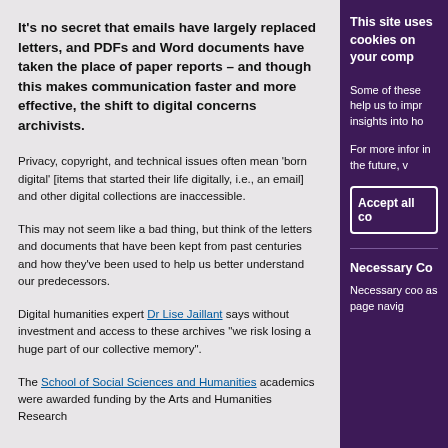It's no secret that emails have largely replaced letters, and PDFs and Word documents have taken the place of paper reports – and though this makes communication faster and more effective, the shift to digital concerns archivists.
Privacy, copyright, and technical issues often mean 'born digital' [items that started their life digitally, i.e., an email] and other digital collections are inaccessible.
This may not seem like a bad thing, but think of the letters and documents that have been kept from past centuries and how they've been used to help us better understand our predecessors.
Digital humanities expert Dr Lise Jaillant says without investment and access to these archives "we risk losing a huge part of our collective memory".
The School of Social Sciences and Humanities academics were awarded funding by the Arts and Humanities Research
This site uses cookies on your computer.
Some of these help us to improve insights into ho
For more information in the future, v
Accept all co
Necessary Co
Necessary coo as page navig